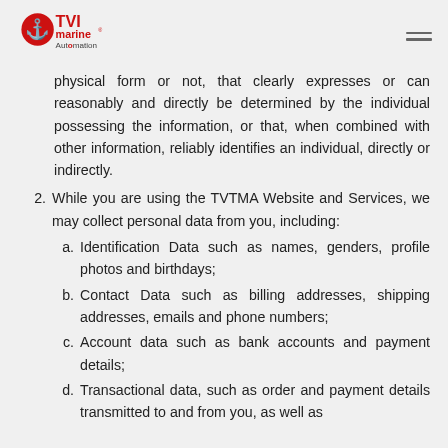TVI Marine Automation logo and navigation
physical form or not, that clearly expresses or can reasonably and directly be determined by the individual possessing the information, or that, when combined with other information, reliably identifies an individual, directly or indirectly.
2. While you are using the TVTMA Website and Services, we may collect personal data from you, including:
a. Identification Data such as names, genders, profile photos and birthdays;
b. Contact Data such as billing addresses, shipping addresses, emails and phone numbers;
c. Account data such as bank accounts and payment details;
d. Transactional data, such as order and payment details transmitted to and from you, as well as